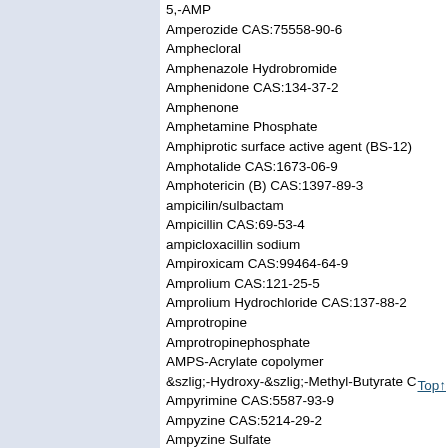5,-AMP
Amperozide CAS:75558-90-6
Amphecloral
Amphenazole Hydrobromide
Amphenidone CAS:134-37-2
Amphenone
Amphetamine Phosphate
Amphiprotic surface active agent (BS-12)
Amphotalide CAS:1673-06-9
Amphotericin (B) CAS:1397-89-3
ampicilin/sulbactam
Ampicillin CAS:69-53-4
ampicloxacillin sodium
Ampiroxicam CAS:99464-64-9
Amprolium CAS:121-25-5
Amprolium Hydrochloride CAS:137-88-2
Amprotropine
Amprotropinephosphate
AMPS-Acrylate copolymer
&amp;szlig;-Hydroxy-&amp;szlig;-Methyl-Butyrate C
Ampyrimine CAS:5587-93-9
Ampyzine CAS:5214-29-2
Ampyzine Sulfate
Amquinolate CAS:17230-85-2
Amrinone CAS:60719-84-8
Amsacrine CAS:54301-15-4
amtibiotic u56407
Amydricaine
Amygdalic acid CAS:611-72-3
Amygdalin CAS:29883-15-6
Amyl alcohol CAS:71-41-0
Amylase CAS:9000-92-4